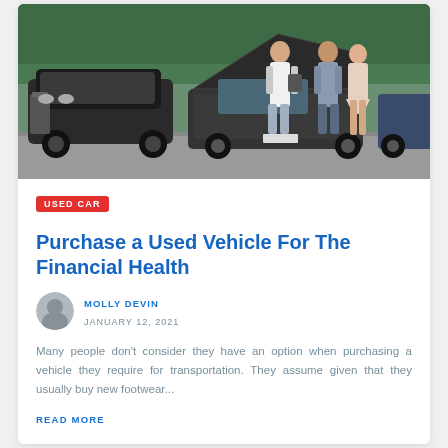[Figure (photo): Car lot scene with a salesman holding a tablet, showing a car with open hood to a couple. Multiple vehicles visible including a black SUV and a dark sedan.]
USED CAR
Purchase a Used Vehicle For The Financial Health
MOLLY DEVIN
JANUARY 12, 2021
Many people don't consider they have an option when purchasing a vehicle they require for transportation. They assume given that they usually buy new footwear...
READ MORE